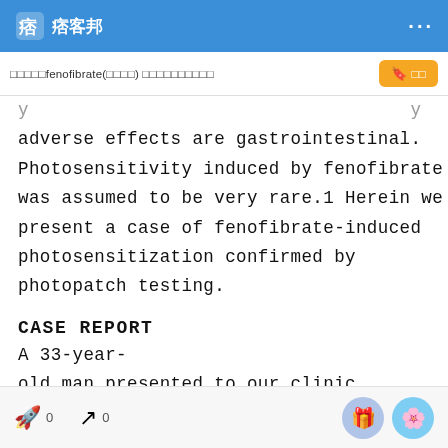痞客邦 ···
□□□□□fenofibrate(□□□□) □□□□□□□□□□
...y...y adverse effects are gastrointestinal. Photosensitivity induced by fenofibrate was assumed to be very rare.1 Herein we present a case of fenofibrate-induced photosensitization confirmed by photopatch testing.
CASE REPORT
A 33-year-old man presented to our clinic with skin eruption on the sun-exposed areas for one day in sunny weather in
0  0